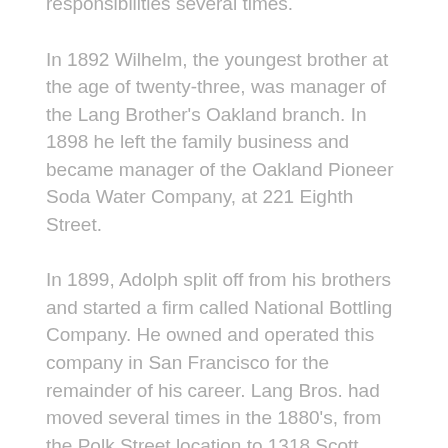responsibilities several times.
In 1892 Wilhelm, the youngest brother at the age of twenty-three, was manager of the Lang Brother's Oakland branch. In 1898 he left the family business and became manager of the Oakland Pioneer Soda Water Company, at 221 Eighth Street.
In 1899, Adolph split off from his brothers and started a firm called National Bottling Company. He owned and operated this company in San Francisco for the remainder of his career. Lang Bros. had moved several times in the 1880's, from the Polk Street location to 1318 Scott Street near